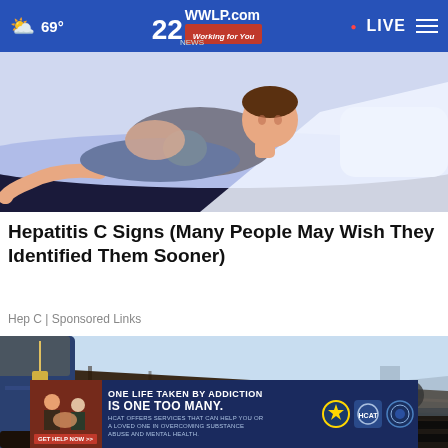69° | 22WWLP.com Working for You | LIVE
[Figure (illustration): Illustration of a person lying in bed, appearing unwell, with stylized cartoon-like art style in blues and skin tones]
Hepatitis C Signs (Many People May Wish They Identified Them Sooner)
Hep C | Sponsored Links
[Figure (photo): Photo of a person working on a roof, wearing jeans, on wooden roofing structure against a light blue sky]
[Figure (infographic): Advertisement banner: ONE LIFE TAKEN BY ADDICTION IS ONE TOO MANY. HCAT OFFERS SERVICES THAT CAN HELP YOU OR A LOVED ONE IN OVERCOMING SUBSTANCE ABUSE AND MENTAL HEALTH. GET HELP NOW >> with law enforcement agency logos]